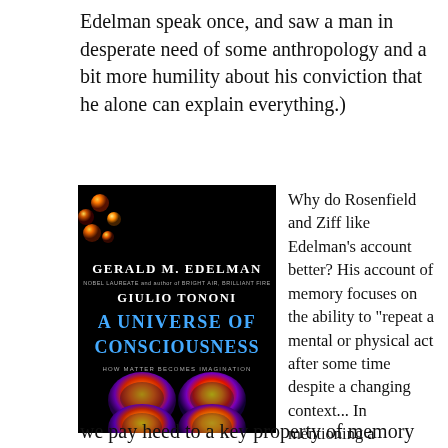Edelman speak once, and saw a man in desperate need of some anthropology and a bit more humility about his conviction that he alone can explain everything.)
[Figure (photo): Book cover of 'A Universe of Consciousness: How Matter Becomes Imagination' by Gerald M. Edelman and Giulio Tononi. Black background with colorful brain scan images at bottom and top, blue title text.]
Why do Rosenfield and Ziff like Edelman’s account better? His account of memory focuses on the ability to “repeat a mental or physical act after some time despite a changing context... In mentioning a changing context,
we pay heed to a key property of memory in the